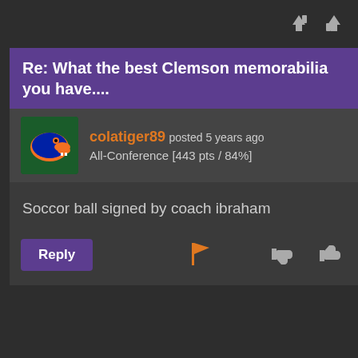Re: What the best Clemson memorabilia you have....
colatiger89 posted 5 years ago
All-Conference [443 pts / 84%]
Soccor ball signed by coach ibraham